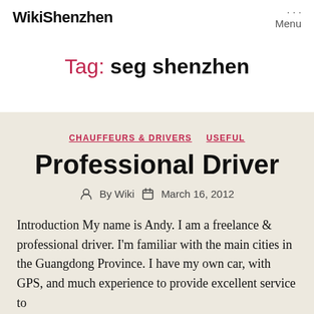WikiShenzhen  Menu
Tag: seg shenzhen
CHAUFFEURS & DRIVERS  USEFUL
Professional Driver
By Wiki  March 16, 2012
Introduction My name is Andy. I am a freelance & professional driver. I'm familiar with the main cities in the Guangdong Province. I have my own car, with GPS, and much experience to provide excellent service to